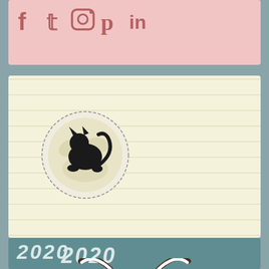[Figure (other): Social media icons: Facebook, Twitter, Instagram, Pinterest, LinkedIn in dark pink/mauve color on a light pink background]
[Figure (logo): Circular logo with a black cat silhouette on a moon/globe design, dashed circle border]
2020
[Figure (illustration): Viking helmet or creature with white curved horns and a decorated round head/body, on teal background]